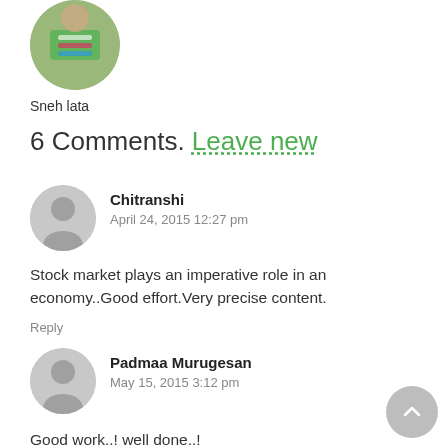[Figure (photo): Circular profile photo of Sneh lata at the top of the page]
Sneh lata
6 Comments. Leave new
Chitranshi
April 24, 2015 12:27 pm
Stock market plays an imperative role in an economy..Good effort.Very precise content.
Reply
Padmaa Murugesan
May 15, 2015 3:12 pm
Good work..! well done..!